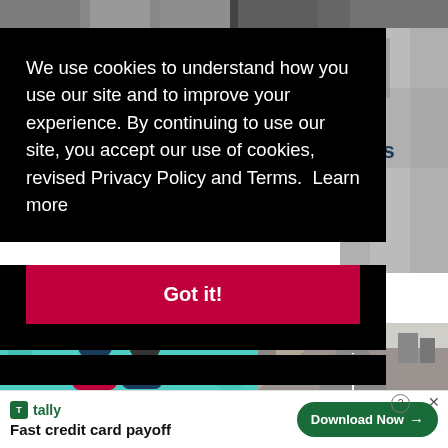[Figure (photo): Top image strip showing people photos]
[Figure (photo): Right side photo of person on steps, partially obscured]
We use cookies to understand how you use our site and to improve your experience. By continuing to use our site, you accept our use of cookies, revised Privacy Policy and Terms.  Learn more
Got it!
tion
hools
22
[Figure (illustration): Illustration of two people hugging, teal background]
[Figure (photo): Road/highway photo with cars, winter conditions]
tally Fast credit card payoff
Download Now →